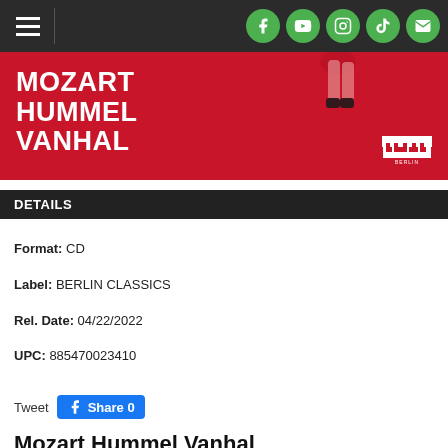Navigation bar with hamburger menu and social icons (Facebook, YouTube, Instagram, TikTok, Email)
[Figure (illustration): Red album cover banner showing Mozart Hummel Vanhal text in white bold capitals with Berlin Classics logo bottom right and partial image of legs in heels top right]
DETAILS
Format: CD
Label: BERLIN CLASSICS
Rel. Date: 04/22/2022
UPC: 885470023410
Tweet  Share 0
Mozart Hummel Vanhal
Artist: Hummel / Dervaux / Mozarteumorchester Salzburg